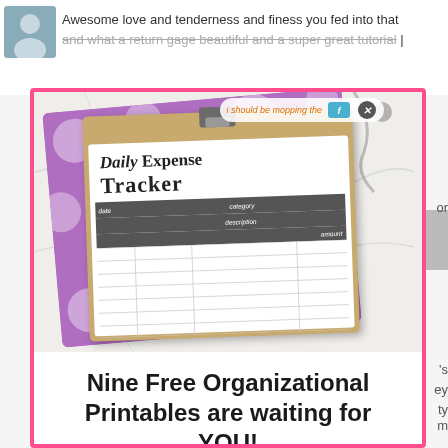Awesome love and tenderness and finess you fed into that and what a return gage beautiful and a super great tutorial |
[Figure (photo): Modal popup with a photo of a Daily Expense Tracker printable on a clipboard with purple polka dot background, on a marble surface. The modal has a pink border and contains a headline and subtext.]
Nine Free Organizational Printables are waiting for YOU!
Join our email list where you'll receive exclusive free printables + NINE free